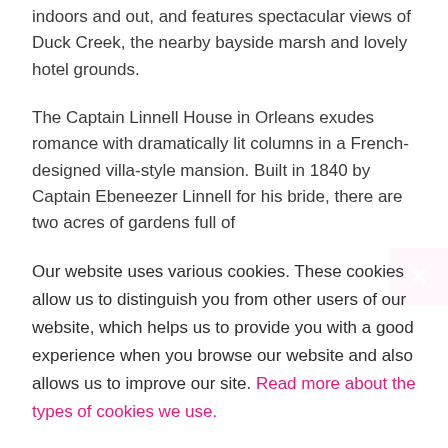indoors and out, and features spectacular views of Duck Creek, the nearby bayside marsh and lovely hotel grounds.
The Captain Linnell House in Orleans exudes romance with dramatically lit columns in a French-designed villa-style mansion. Built in 1840 by Captain Ebeneezer Linnell for his bride, there are two acres of gardens full of
Our website uses various cookies. These cookies allow us to distinguish you from other users of our website, which helps us to provide you with a good experience when you browse our website and also allows us to improve our site. Read more about the types of cookies we use.